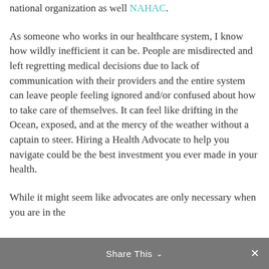national organization as well NAHAC.
As someone who works in our healthcare system, I know how wildly inefficient it can be. People are misdirected and left regretting medical decisions due to lack of communication with their providers and the entire system can leave people feeling ignored and/or confused about how to take care of themselves. It can feel like drifting in the Ocean, exposed, and at the mercy of the weather without a captain to steer. Hiring a Health Advocate to help you navigate could be the best investment you ever made in your health.
While it might seem like advocates are only necessary when you are in the
Share This